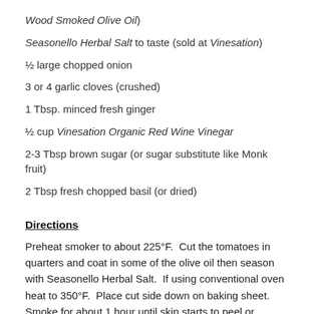Wood Smoked Olive Oil)
Seasonello Herbal Salt to taste (sold at Vinesation)
½ large chopped onion
3 or 4 garlic cloves (crushed)
1 Tbsp. minced fresh ginger
½ cup Vinesation Organic Red Wine Vinegar
2-3 Tbsp brown sugar (or sugar substitute like Monk fruit)
2 Tbsp fresh chopped basil (or dried)
Directions
Preheat smoker to about 225°F.  Cut the tomatoes in quarters and coat in some of the olive oil then season with Seasonello Herbal Salt.  If using conventional oven heat to 350°F.  Place cut side down on baking sheet.  Smoke for about 1 hour until skin starts to peel or